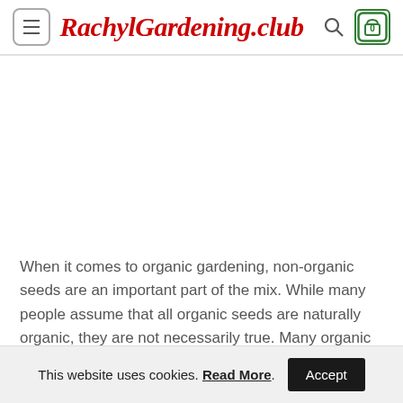RachylGardening.club
When it comes to organic gardening, non-organic seeds are an important part of the mix. While many people assume that all organic seeds are naturally organic, they are not necessarily true. Many organic gardening guides and books
This website uses cookies. Read More. Accept